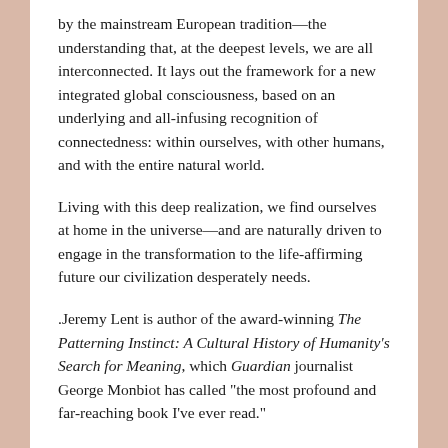by the mainstream European tradition—the understanding that, at the deepest levels, we are all interconnected. It lays out the framework for a new integrated global consciousness, based on an underlying and all-infusing recognition of connectedness: within ourselves, with other humans, and with the entire natural world.
Living with this deep realization, we find ourselves at home in the universe—and are naturally driven to engage in the transformation to the life-affirming future our civilization desperately needs.
.Jeremy Lent is author of the award-winning The Patterning Instinct: A Cultural History of Humanity's Search for Meaning, which Guardian journalist George Monbiot has called "the most profound and far-reaching book I've ever read."